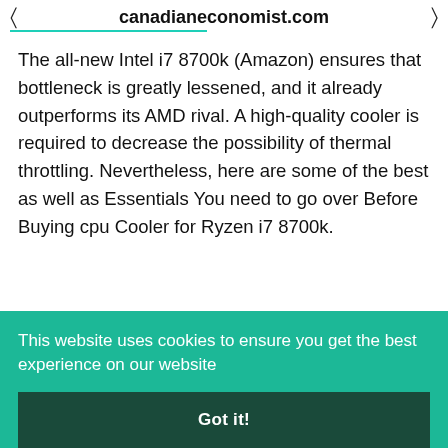canadianeconomist.com
The all-new Intel i7 8700k (Amazon) ensures that bottleneck is greatly lessened, and it already outperforms its AMD rival. A high-quality cooler is required to decrease the possibility of thermal throttling. Nevertheless, here are some of the best as well as Essentials You need to go over Before Buying cpu Cooler for Ryzen i7 8700k.
This website uses cookies to ensure you get the best experience on our website
Got it!